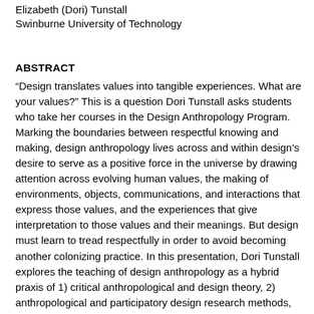Elizabeth (Dori) Tunstall
Swinburne University of Technology
ABSTRACT
“Design translates values into tangible experiences. What are your values?” This is a question Dori Tunstall asks students who take her courses in the Design Anthropology Program. Marking the boundaries between respectful knowing and making, design anthropology lives across and within design’s desire to serve as a positive force in the universe by drawing attention across evolving human values, the making of environments, objects, communications, and interactions that express those values, and the experiences that give interpretation to those values and their meanings. But design must learn to tread respectfully in order to avoid becoming another colonizing practice. In this presentation, Dori Tunstall explores the teaching of design anthropology as a hybrid praxis of 1) critical anthropological and design theory, 2) anthropological and participatory design research methods, and 3) design studio and social systems making. She outlines eight principles of design anthropology as a decolonized practice that seeks to be respectful of different ways of knowing and making. The showcasing of projects completed by students in her